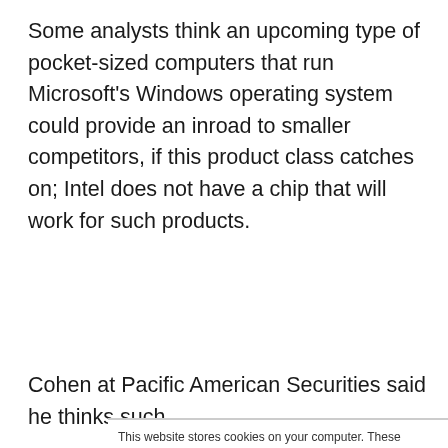Some analysts think an upcoming type of pocket-sized computers that run Microsoft's Windows operating system could provide an inroad to smaller competitors, if this product class catches on; Intel does not have a chip that will work for such products.
Cohen at Pacific American Securities said he thinks such
This website stores cookies on your computer. These cookies are used to collect information about how you interact with our website and allow us to remember you. We use this information in order to improve and customize your browsing experience and for analytics and metrics about our visitors both on this website and other media. To find out more about the cookies we use, see our Privacy Policy. California residents have the right to direct us not to sell their personal information to third parties by filing an Opt-Out Request: Do Not Sell My Personal Info.
Accept